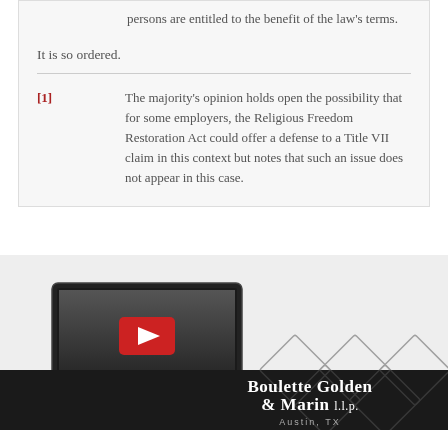persons are entitled to the benefit of the law's terms.
It is so ordered.
[1] The majority's opinion holds open the possibility that for some employers, the Religious Freedom Restoration Act could offer a defense to a Title VII claim in this context but notes that such an issue does not appear in this case.
[Figure (screenshot): Advertisement for Boulette Golden & Marin L.L.P. law firm showing a computer monitor with a video play button and the firm name and Austin, TX text on a dark background with diamond patterns.]